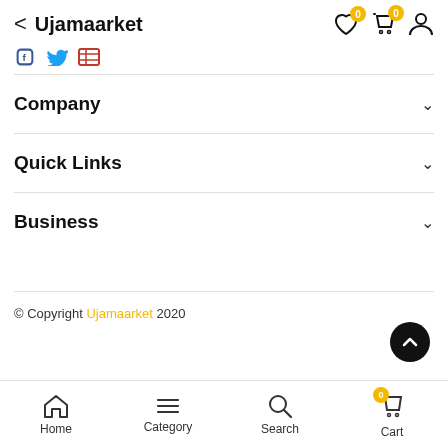Ujamaarket
Company
Quick Links
Business
© Copyright Ujamaarket 2020
Home  Category  Search  Cart